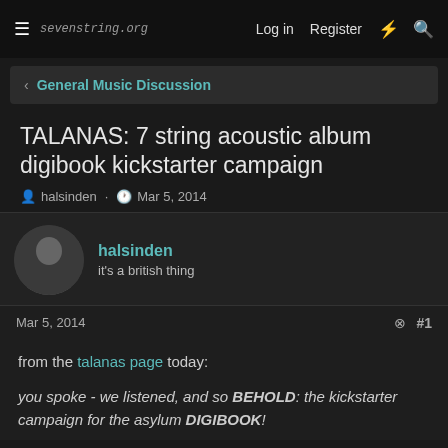≡ sevenstring.org  Log in  Register
< General Music Discussion
TALANAS: 7 string acoustic album digibook kickstarter campaign
halsinden · Mar 5, 2014
halsinden
it's a british thing
Mar 5, 2014  #1
from the talanas page today:

you spoke - we listened, and so BEHOLD: the kickstarter campaign for the asylum DIGIBOOK!